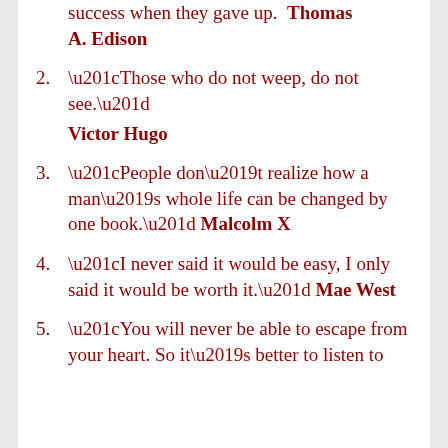success when they gave up. Thomas A. Edison
2. “Those who do not weep, do not see.” Victor Hugo
3. “People don’t realize how a man’s whole life can be changed by one book.” Malcolm X
4. “I never said it would be easy, I only said it would be worth it.” Mae West
5. “You will never be able to escape from your heart. So it’s better to listen to